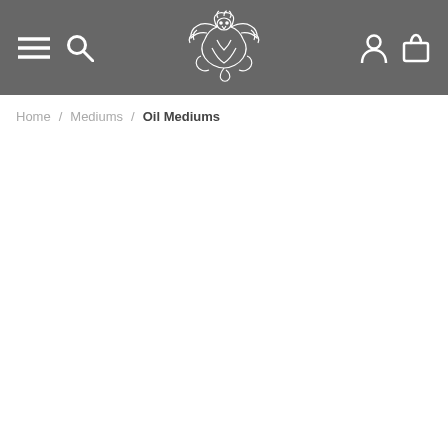Navigation header with menu, search, logo, account and cart icons
Home / Mediums / Oil Mediums